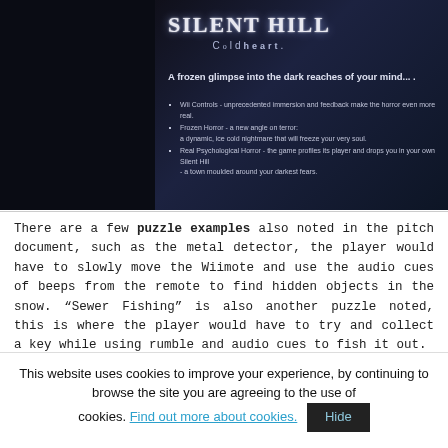[Figure (screenshot): Silent Hill Cold Heart game promotional image with dark background, game logo, tagline 'A frozen glimpse into the dark reaches of your mind....', and bullet points about Wii Controls, Frozen Horror, and Real Psychological Horror features.]
There are a few puzzle examples also noted in the pitch document, such as the metal detector, the player would have to slowly move the Wiimote and use the audio cues of beeps from the remote to find hidden objects in the snow. “Sewer Fishing” is also another puzzle noted, this is where the player would have to try and collect a key while using rumble and audio cues to fish it out.
This website uses cookies to improve your experience, by continuing to browse the site you are agreeing to the use of cookies. Find out more about cookies.